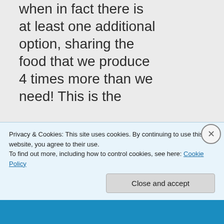when in fact there is at least one additional option, sharing the food that we produce 4 times more than we need! This is the
Privacy & Cookies: This site uses cookies. By continuing to use this website, you agree to their use.
To find out more, including how to control cookies, see here: Cookie Policy
Close and accept